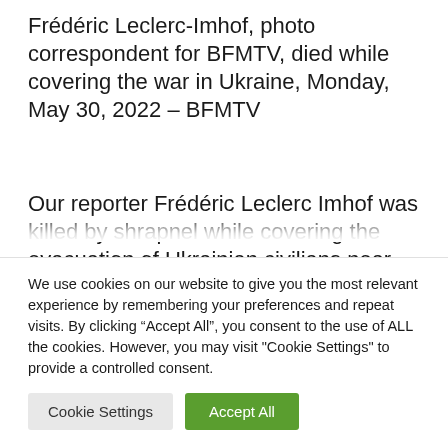Frédéric Leclerc-Imhof, photo correspondent for BFMTV, died while covering the war in Ukraine, Monday, May 30, 2022 – BFMTV
Our reporter Frédéric Leclerc Imhof was killed by shrapnel while covering the evacuation of Ukrainian civilians near Lyschansk, in the east of the country invaded by Russia. It was next to him in the same
We use cookies on our website to give you the most relevant experience by remembering your preferences and repeat visits. By clicking "Accept All", you consent to the use of ALL the cookies. However, you may visit "Cookie Settings" to provide a controlled consent.